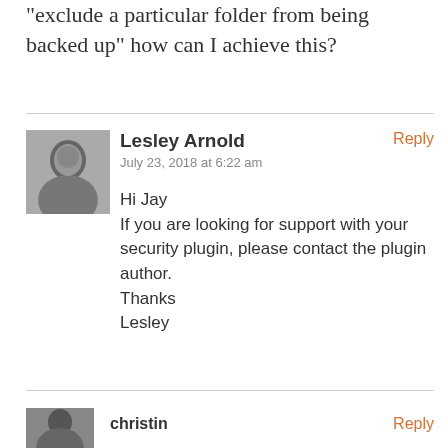“exclude a particular folder from being backed up” how can I achieve this?
Lesley Arnold
July 23, 2018 at 6:22 am
Hi Jay
If you are looking for support with your security plugin, please contact the plugin author.
Thanks
Lesley
christin
Reply
Reply